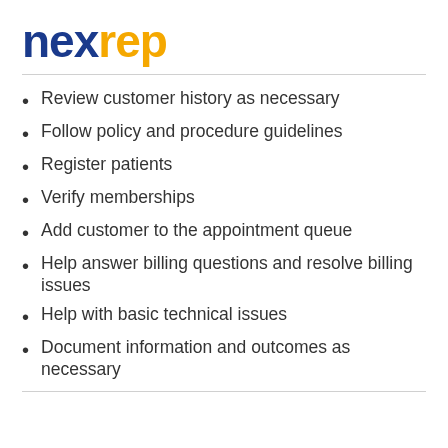nexrep
Review customer history as necessary
Follow policy and procedure guidelines
Register patients
Verify memberships
Add customer to the appointment queue
Help answer billing questions and resolve billing issues
Help with basic technical issues
Document information and outcomes as necessary